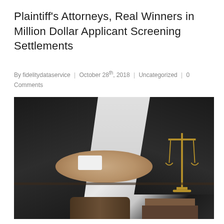Plaintiff's Attorneys, Real Winners in Million Dollar Applicant Screening Settlements
By fidelitydataservice | October 28th, 2018 | Uncategorized | 0 Comments
[Figure (photo): Two people in dark business suits shaking hands across a table. On the table are a judge's gavel and a scales of justice. The background is light grey. The scene evokes a legal settlement or agreement.]